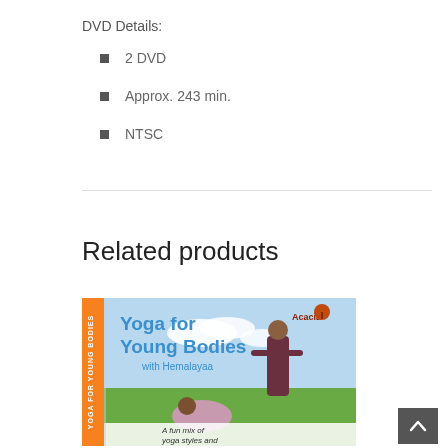DVD Details:
2 DVD
Approx. 243 min.
NTSC
Related products
[Figure (photo): DVD case for 'Yoga for Young Bodies with Hemalayaa' showing two women doing yoga poses on a green field with blue sky. The DVD case has an orange spine and the Acacia logo. Text at bottom reads 'A fun mix of yoga styles and']